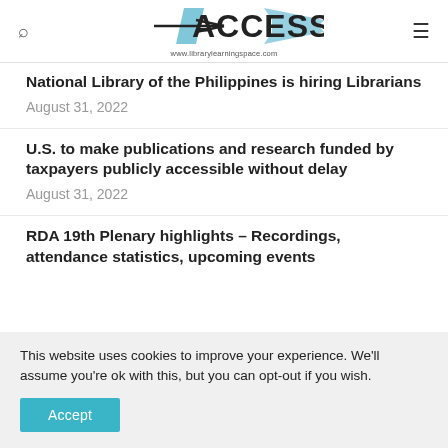ACCESS www.librarylearningspace.com
National Library of the Philippines is hiring Librarians
August 31, 2022
U.S. to make publications and research funded by taxpayers publicly accessible without delay
August 31, 2022
RDA 19th Plenary highlights – Recordings, attendance statistics, upcoming events
This website uses cookies to improve your experience. We'll assume you're ok with this, but you can opt-out if you wish.